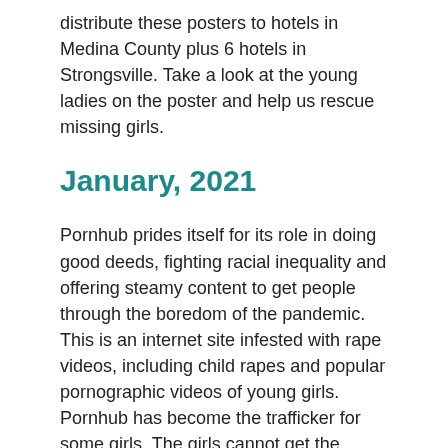distribute these posters to hotels in Medina County plus 6 hotels in Strongsville. Take a look at the young ladies on the poster and help us rescue missing girls.
January, 2021
Pornhub prides itself for its role in doing good deeds, fighting racial inequality and offering steamy content to get people through the boredom of the pandemic. This is an internet site infested with rape videos, including child rapes and popular pornographic videos of young girls. Pornhub has become the trafficker for some girls. The girls cannot get the videos eliminated from this porn site; the negative effects are many. Reports show that many of these girls have become alienated from their teenaged peers and even their families. Some have even committed suicide. PayPal and American Express do not accept charges for Pornhub, but Master Card and Visa do. Since the Nicolas Kristof New York Times article,